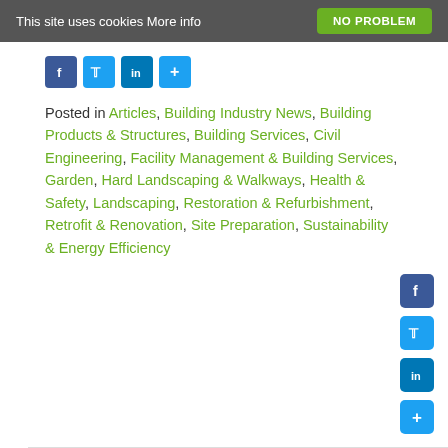This site uses cookies More info  NO PROBLEM
[Figure (other): Social sharing icons row: Facebook, Twitter, LinkedIn, Plus]
Posted in Articles, Building Industry News, Building Products & Structures, Building Services, Civil Engineering, Facility Management & Building Services, Garden, Hard Landscaping & Walkways, Health & Safety, Landscaping, Restoration & Refurbishment, Retrofit & Renovation, Site Preparation, Sustainability & Energy Efficiency
[Figure (other): Social sharing icons column on right: Facebook, Twitter, LinkedIn, Plus]